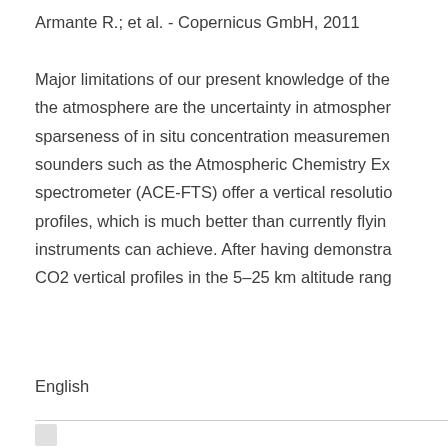Armante R.; et al. - Copernicus GmbH, 2011

Major limitations of our present knowledge of the atmosphere are the uncertainty in atmospheric sparseness of in situ concentration measurements sounders such as the Atmospheric Chemistry Ex spectrometer (ACE-FTS) offer a vertical resolution profiles, which is much better than currently flying instruments can achieve. After having demonstrated CO2 vertical profiles in the 5–25 km altitude range
English